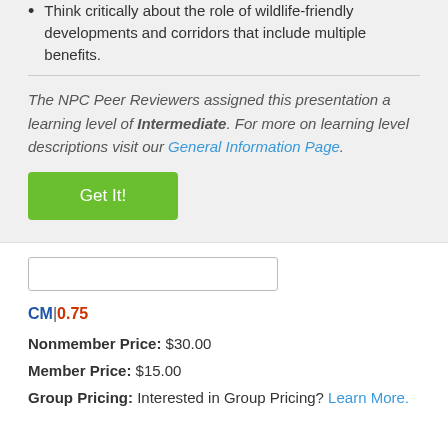Think critically about the role of wildlife-friendly developments and corridors that include multiple benefits.
The NPC Peer Reviewers assigned this presentation a learning level of Intermediate. For more on learning level descriptions visit our General Information Page.
Get It!
CM|0.75
Nonmember Price: $30.00
Member Price: $15.00
Group Pricing: Interested in Group Pricing? Learn More.